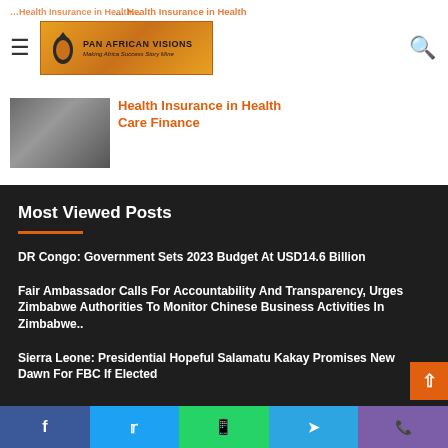Pan African Visions — Making Africa Success Story Mine
Health Insurance in Health Care Finance
Most Viewed Posts
DR Congo: Government Sets 2023 Budget At USD14.6 Billion
Fair Ambassador Calls For Accountability And Transparency, Urges Zimbabwe Authorities To Monitor Chinese Business Activities In Zimbabwe..
Sierra Leone: Presidential Hopeful Salamatu Kakay Promises New Dawn For FBC If Elected
Facebook Twitter WhatsApp Telegram Phone